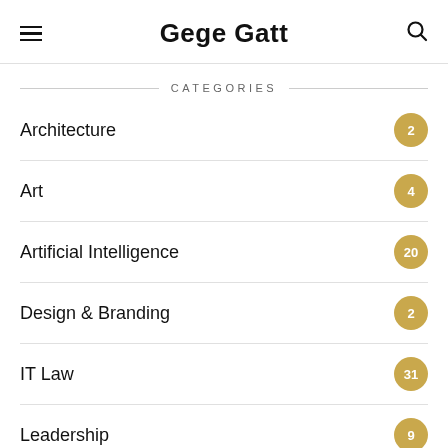Gege Gatt
CATEGORIES
Architecture 2
Art 4
Artificial Intelligence 20
Design & Branding 2
IT Law 31
Leadership 9
Lifestyle 9